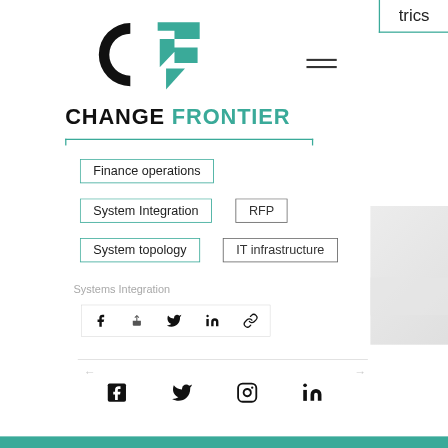trics
[Figure (logo): Change Frontier logo — black circular C shape with teal F arrow shape]
CHANGE FRONTIER
Finance operations
System Integration
RFP
System topology
IT infrastructure
Systems Integration
[Figure (infographic): Share icons row: Facebook, up-arrow/share, Twitter, LinkedIn, link/copy icon]
[Figure (infographic): Social media footer icons: Facebook, Twitter, Instagram, LinkedIn]